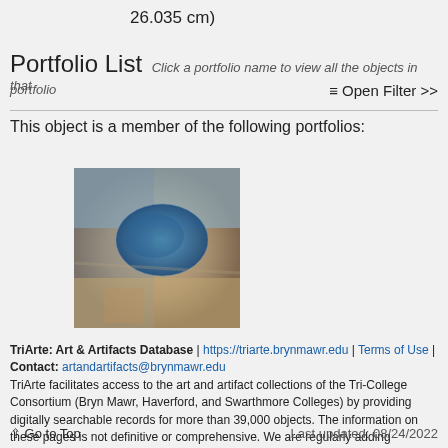26.035 cm)
Portfolio List Click a portfolio name to view all the objects in that portfolio
≡ Open Filter >>
This object is a member of the following portfolios:
[Figure (photo): Small thumbnail image of an artwork showing a blue oval or pool shape surrounded by warm earth-toned colors, possibly a painting.]
TriArte: Art & Artifacts Database | https://triarte.brynmawr.edu | Terms of Use | Contact: artandartifacts@brynmawr.edu
TriArte facilitates access to the art and artifact collections of the Tri-College Consortium (Bryn Mawr, Haverford, and Swarthmore Colleges) by providing digitally searchable records for more than 39,000 objects. The information on these pages is not definitive or comprehensive. We are regularly adding artworks and updating research online. We welcome your comments.
↑ Go to Top    Last updated: 08/24/2022